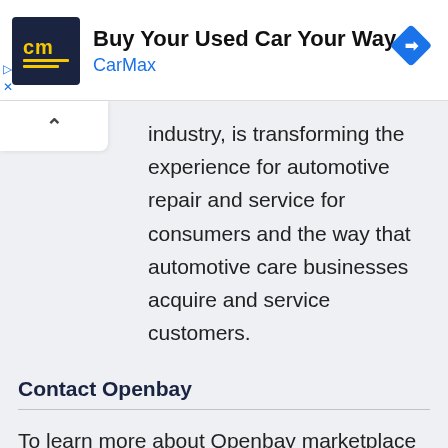[Figure (advertisement): CarMax advertisement banner with logo, title 'Buy Your Used Car Your Way', brand name 'CarMax', and a blue diamond navigation icon.]
industry, is transforming the experience for automotive repair and service for consumers and the way that automotive care businesses acquire and service customers.
Contact Openbay
To learn more about Openbay marketplace and subscription services, contact us today.